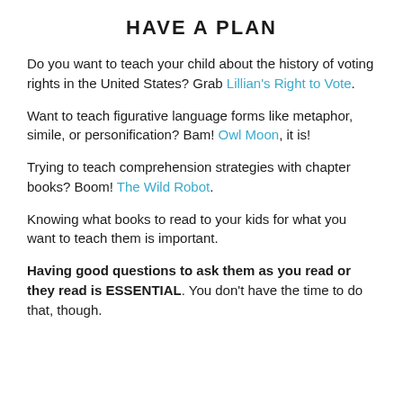HAVE A PLAN
Do you want to teach your child about the history of voting rights in the United States? Grab Lillian's Right to Vote.
Want to teach figurative language forms like metaphor, simile, or personification? Bam! Owl Moon, it is!
Trying to teach comprehension strategies with chapter books? Boom! The Wild Robot.
Knowing what books to read to your kids for what you want to teach them is important.
Having good questions to ask them as you read or they read is ESSENTIAL. You don't have the time to do that, though.